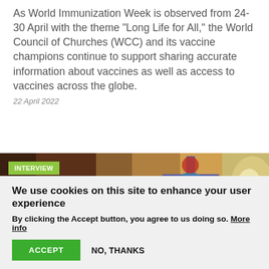As World Immunization Week is observed from 24-30 April with the theme “Long Life for All,” the World Council of Churches (WCC) and its vaccine champions continue to support sharing accurate information about vaccines as well as access to vaccines across the globe.
22 April 2022
[Figure (photo): Photo showing a colorful illustrated cross artwork in a dimly lit room, with warm brown background tones. An 'INTERVIEW' tag is overlaid in the top-left corner on a green background.]
We use cookies on this site to enhance your user experience
By clicking the Accept button, you agree to us doing so. More info
ACCEPT
NO, THANKS